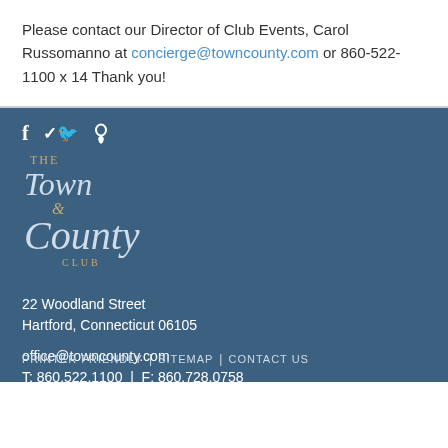Please contact our Director of Club Events, Carol Russomanno at concierge@towncounty.com or 860-522-1100 x 14 Thank you!
[Figure (logo): The Town & County Club logo with social media icons (Facebook, Twitter, location pin) and stylized italic script text on a dark blue background]
22 Woodland Street
Hartford, Connecticut 06105
office@towncounty.com
T: 860.522.1100  |  F: 860.728.0758
PRINTER FRIENDLY  |  SITEMAP  |  CONTACT US